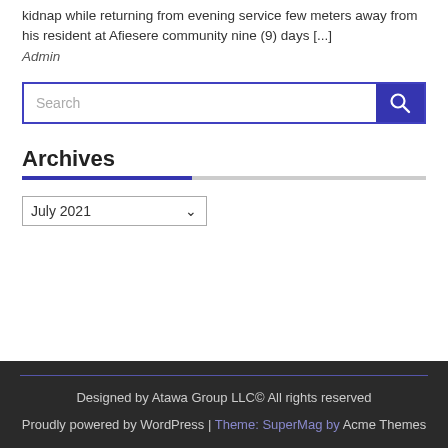kidnap while returning from evening service few meters away from his resident at Afiesere community nine (9) days [...]
Admin
[Figure (other): Search input box with blue border and blue search button icon]
Archives
[Figure (other): Dropdown select box showing 'July 2021']
Designed by Atawa Group LLC© All rights reserved
Proudly powered by WordPress | Theme: SuperMag by Acme Themes